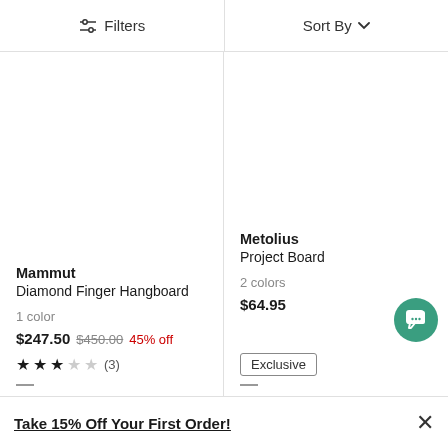Filters | Sort By
Mammut
Diamond Finger Hangboard
1 color
$247.50 $450.00 45% off
★★★☆☆ (3)
Metolius
Project Board
2 colors
$64.95
Exclusive
Take 15% Off Your First Order!